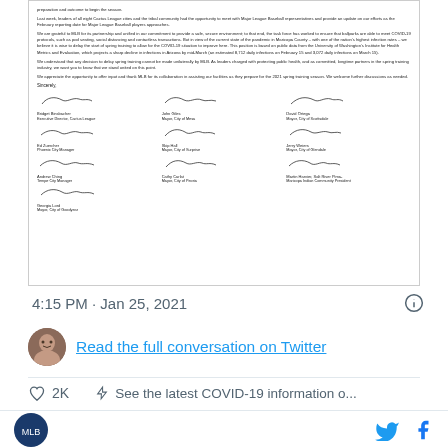[Figure (screenshot): Scanned letter signed by Cactus League leaders requesting MLB delay spring training due to COVID-19, with multiple signatures from city mayors and officials]
4:15 PM · Jan 25, 2021
Read the full conversation on Twitter
♡ 2K  ⚡ See the latest COVID-19 information o...